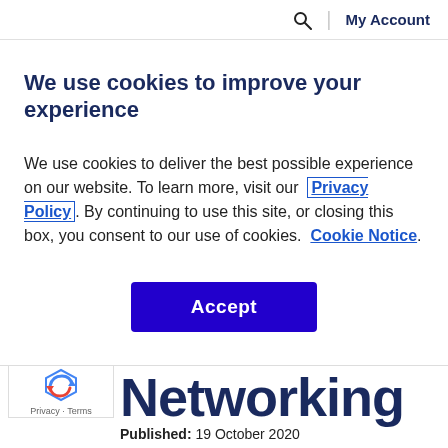Search  |  My Account
We use cookies to improve your experience
We use cookies to deliver the best possible experience on our website. To learn more, visit our  Privacy Policy . By continuing to use this site, or closing this box, you consent to our use of cookies.  Cookie Notice .
Accept
Networking
Published: 19 October 2020